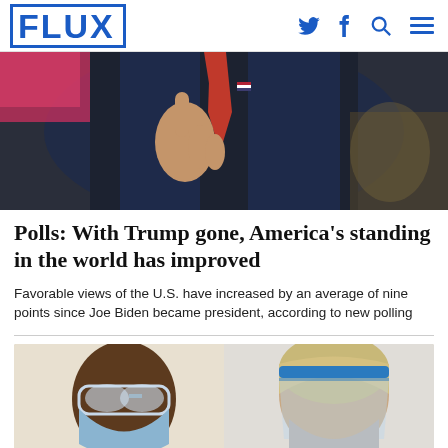FLUX
[Figure (photo): A person in a dark suit with a red tie gesturing with one finger raised, speaking at a podium. An American flag pin is visible on the lapel. Background shows pink signage.]
Polls: With Trump gone, America's standing in the world has improved
Favorable views of the U.S. have increased by an average of nine points since Joe Biden became president, according to new polling
[Figure (photo): Two people wearing face masks and face shields, shown in profile facing each other. One wears a red patterned garment and safety glasses over a blue mask. The other wears a blue face shield and a light-colored mask.]